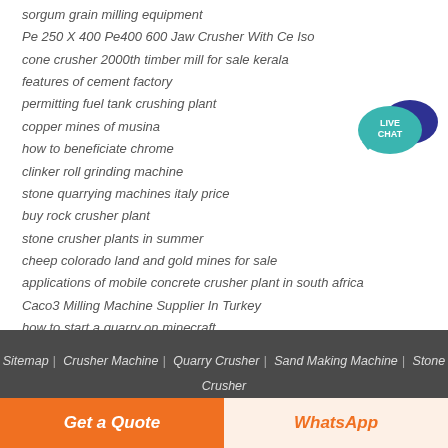sorgum grain milling equipment
Pe 250 X 400 Pe400 600 Jaw Crusher With Ce Iso
cone crusher 2000th timber mill for sale kerala
features of cement factory
permitting fuel tank crushing plant
copper mines of musina
how to beneficiate chrome
clinker roll grinding machine
stone quarrying machines italy price
buy rock crusher plant
stone crusher plants in summer
cheep colorado land and gold mines for sale
applications of mobile concrete crusher plant in south africa
Caco3 Milling Machine Supplier In Turkey
how to start a quarry on minecraft
Selling Of Second Hand Of Stone Crusher Plant In Dalla Sonebhadra Up
[Figure (illustration): Live Chat speech bubble badge in teal/dark blue colors]
Sitemap | Crusher Machine | Quarry Crusher | Sand Making Machine | Stone Crusher | Cone Crusher | Impact Crusher | Portable Crusher
Get a Quote
WhatsApp